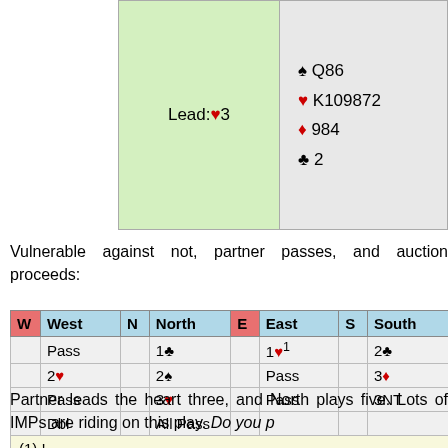[Figure (other): Bridge hand display showing Lead: heart 3 on left (green background), and hand: spade Q86, heart K109872, diamond 984, club 2 on right (grey background)]
Vulnerable against not, partner passes, and auction proceeds:
| W | West | N | North | E | East | S | South |
| --- | --- | --- | --- | --- | --- | --- | --- |
|  | Pass |  | 1♣ |  | 1♥¹ |  | 2♣ |
|  | 2♥ |  | 2♠ |  | Pass |  | 3♦ |
|  | Pass |  | 3♥ |  | Pass |  | 3NT |
|  | Dbl |  | All Pass |  |  |  |  |
| (1) ! |  |  |  |  |  |  |  |
Partner leads the heart three, and North plays five. Lots of IMPs are riding on this play. Do you p...